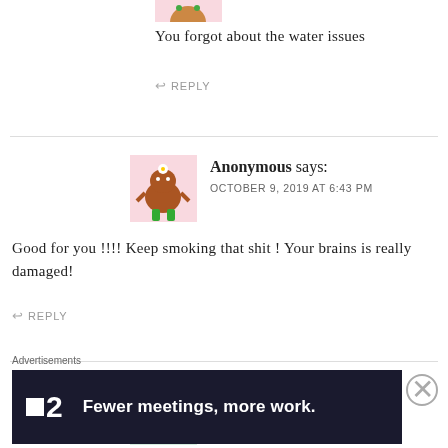[Figure (illustration): Partial cartoon avatar at top, pink background with a creature]
You forgot about the water issues
↩ REPLY
[Figure (illustration): Cartoon monster avatar on pink background — brown furry body, green legs, white flower on head]
Anonymous says:
OCTOBER 9, 2019 AT 6:43 PM
Good for you !!!! Keep smoking that shit ! Your brains is really damaged!
↩ REPLY
[Figure (illustration): Partial cartoon avatar, green and pink, partly visible]
Grant says:
Advertisements
[Figure (other): Advertisement banner: dark navy background, white square icon, large '2' and text 'Fewer meetings, more work.']